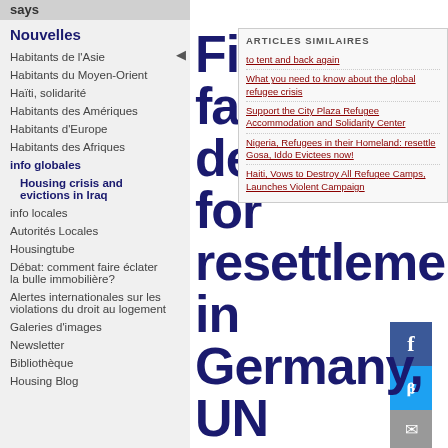says
Nouvelles
Habitants de l'Asie
Habitants du Moyen-Orient
Haïti, solidarité
Habitants des Amériques
Habitants d'Europe
Habitants des Afriques
info globales
Housing crisis and evictions in Iraq
info locales
Autorités Locales
Housingtube
Débat: comment faire éclater la bulle immobilière?
Alertes internationales sur les violations du droit au logement
Galeries d'images
Newsletter
Bibliothèque
Housing Blog
First Iraqi family departs for resettlement in Germany, UN refugee agency says
ARTICLES SIMILAIRES
to tent and back again
What you need to know about the global refugee crisis
Support the City Plaza Refugee Accommodation and Solidarity Center
Nigeria, Refugees in their Homeland: resettle Gosa, Iddo Evictees now!
Haiti, Vows to Destroy All Refugee Camps, Launches Violent Campaign